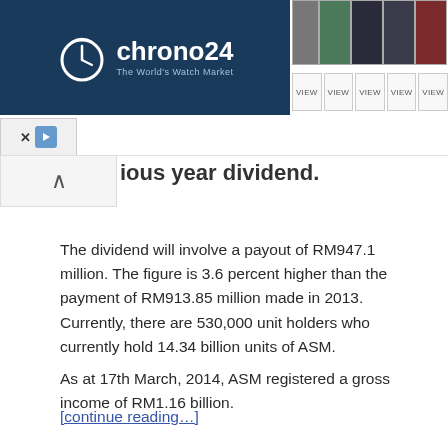[Figure (screenshot): Chrono24 watch marketplace advertisement banner with logo, watch images, and VIEW buttons]
ious year dividend.
The dividend will involve a payout of RM947.1 million. The figure is 3.6 percent higher than the payment of RM913.85 million made in 2013. Currently, there are 530,000 unit holders who currently hold 14.34 billion units of ASM.
As at 17th March, 2014, ASM registered a gross income of RM1.16 billion.
[continue reading…]